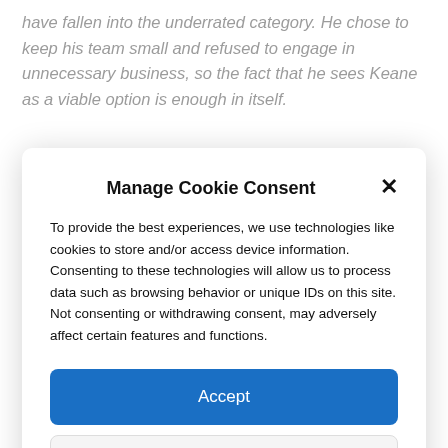have fallen into the underrated category. He chose to keep his team small and refused to engage in unnecessary business, so the fact that he sees Keane as a viable option is enough in itself.
Manage Cookie Consent
To provide the best experiences, we use technologies like cookies to store and/or access device information. Consenting to these technologies will allow us to process data such as browsing behavior or unique IDs on this site. Not consenting or withdrawing consent, may adversely affect certain features and functions.
Accept
Deny
View preferences
Cookie Policy